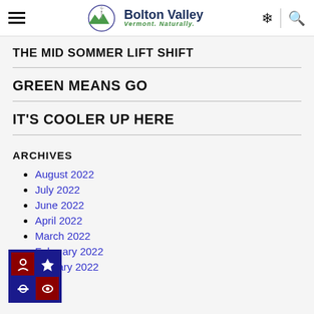Bolton Valley — Vermont. Naturally.
THE MID SOMMER LIFT SHIFT
GREEN MEANS GO
IT'S COOLER UP HERE
ARCHIVES
August 2022
July 2022
June 2022
April 2022
March 2022
February 2022
January 2022